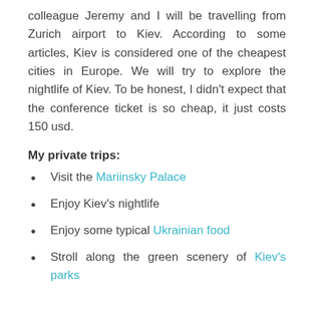colleague Jeremy and I will be travelling from Zurich airport to Kiev. According to some articles, Kiev is considered one of the cheapest cities in Europe. We will try to explore the nightlife of Kiev. To be honest, I didn't expect that the conference ticket is so cheap, it just costs 150 usd.
My private trips:
Visit the Mariinsky Palace
Enjoy Kiev's nightlife
Enjoy some typical Ukrainian food
Stroll along the green scenery of Kiev's parks